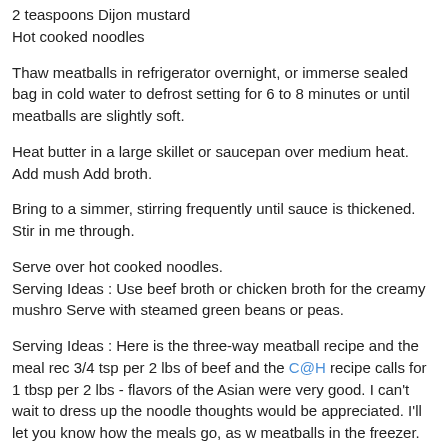2 teaspoons Dijon mustard
Hot cooked noodles
Thaw meatballs in refrigerator overnight, or immerse sealed bag in cold water to defrost setting for 6 to 8 minutes or until meatballs are slightly soft.
Heat butter in a large skillet or saucepan over medium heat. Add mush… Add broth.
Bring to a simmer, stirring frequently until sauce is thickened. Stir in me… through.
Serve over hot cooked noodles.
Serving Ideas : Use beef broth or chicken broth for the creamy mushro… Serve with steamed green beans or peas.
Serving Ideas : Here is the three-way meatball recipe and the meal rec… 3/4 tsp per 2 lbs of beef and the C@H recipe calls for 1 tbsp per 2 lbs - flavors of the Asian were very good. I can't wait to dress up the noodle thoughts would be appreciated. I'll let you know how the meals go, as w… meatballs in the freezer.